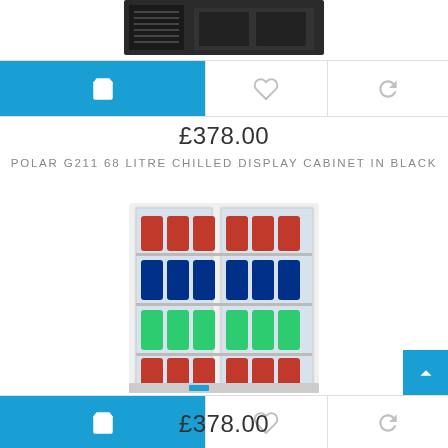[Figure (photo): Partial top view of a black refrigeration/ice machine unit]
[Figure (other): Action bar with cart button (blue), heart/wishlist icon, and share/refresh icon]
£378.00
POLAR G211 68 LITRE CHILLED DISPLAY CABINET IN BLACK
[Figure (photo): White glass-door chilled display cabinet filled with cans of Coca-Cola, Pepsi, 7UP and other beverages on multiple shelves]
[Figure (other): Action bar with cart button (blue), heart/wishlist icon, and share/refresh icon]
£378.00